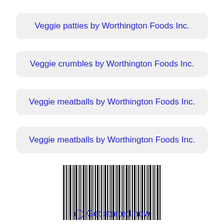Veggie patties by Worthington Foods Inc.
Veggie crumbles by Worthington Foods Inc.
Veggie meatballs by Worthington Foods Inc.
Veggie meatballs by Worthington Foods Inc.
[Figure (other): Barcode image (UPC/EAN barcode of vertical black bars)]
⊙ Get started now